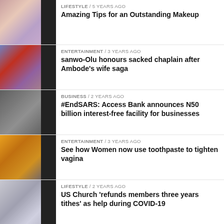[Figure (photo): Thumbnail image of women with makeup, grid of 4 photos]
LIFESTYLE / 5 years ago
Amazing Tips for an Outstanding Makeup
[Figure (photo): Thumbnail image of people at an event in colorful attire]
ENTERTAINMENT / 3 years ago
sanwo-Olu honours sacked chaplain after Ambode’s wife saga
[Figure (photo): Thumbnail image of a man in a suit]
BUSINESS / 2 years ago
#EndSARS: Access Bank announces N50 billion interest-free facility for businesses
[Figure (photo): Thumbnail image of a crowd of people in orange]
ENTERTAINMENT / 3 years ago
See how Women now use toothpaste to tighten vagina
[Figure (photo): Thumbnail image of a church cathedral]
LIFESTYLE / 2 years ago
US Church ‘refunds members three years tithes’ as help during COVID-19